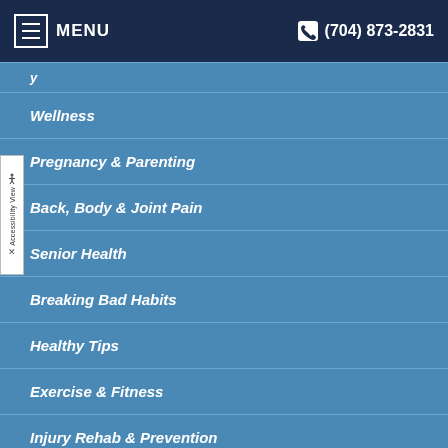MENU  (704) 873-2831
Wellness
Pregnancy & Parenting
Back, Body & Joint Pain
Senior Health
Breaking Bad Habits
Healthy Tips
Exercise & Fitness
Injury Rehab & Prevention
Kid's Health